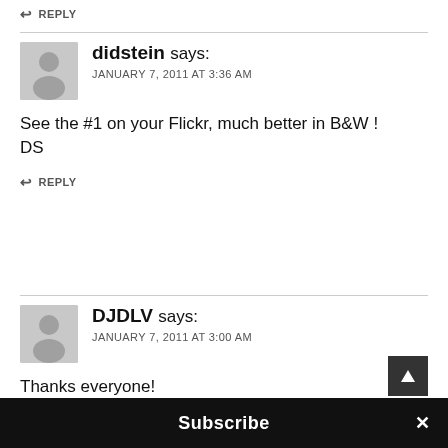↩ REPLY
didstein says:
JANUARY 7, 2011 AT 3:36 AM
See the #1 on your Flickr, much better in B&W !
DS
↩ REPLY
DJDLV says:
JANUARY 7, 2011 AT 3:00 AM
Thanks everyone!
Subscribe ×